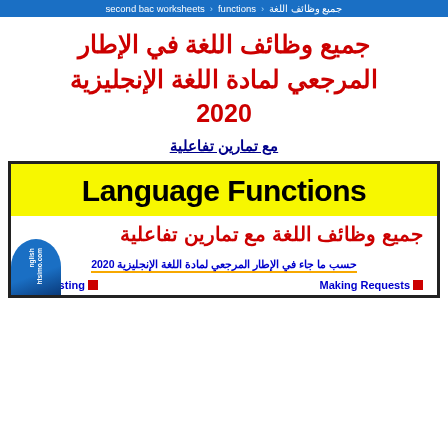جميع وظائف اللغة < functions < second bac worksheets
جميع وظائف اللغة في الإطار المرجعي لمادة اللغة الإنجليزية 2020
مع تمارين تفاعلية
[Figure (illustration): Book cover showing 'Language Functions' in large bold text on yellow background, Arabic subtitle 'جميع وظائف اللغة مع تمارين تفاعلية' in red, blue subtitle text in Arabic referring to 2020 reference framework, with list items 'Making Requests' and 'Suggesting' visible at bottom, and a blue circular logo/watermark in the bottom right corner.]